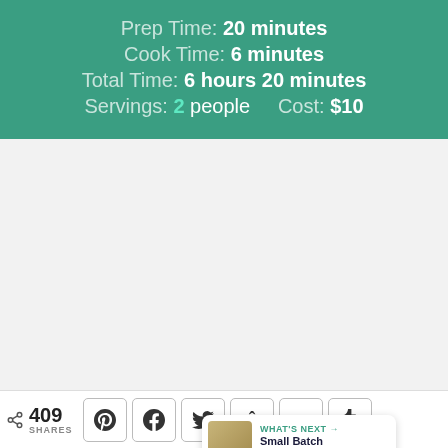Prep Time: 20 minutes
Cook Time: 6 minutes
Total Time: 6 hours 20 minutes
Servings: 2 people    Cost: $10
[Figure (photo): Large photo area (mostly white/blank in this crop) with floating heart button showing count 2, share button, and 'What's Next' card showing Small Batch White Chick... recipe]
WHAT'S NEXT → Small Batch White Chick...
409 SHARES
[Figure (infographic): Social sharing bar with Pinterest, Facebook, Twitter, Yummly, Mix, Tumblr buttons]